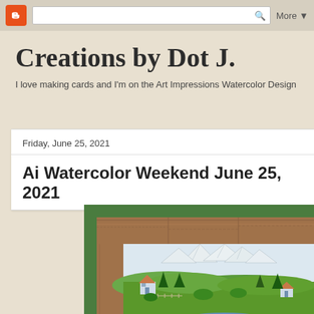Blogger | More
Creations by Dot J.
I love making cards and I'm on the Art Impressions Watercolor Design
Friday, June 25, 2021
Ai Watercolor Weekend June 25, 2021
[Figure (photo): Watercolor card showing a scenic mountain landscape with snow-capped peaks, pine trees, small white houses/cottages, and a lake in the foreground, mounted on a green cardstock background with a wooden-look frame border]